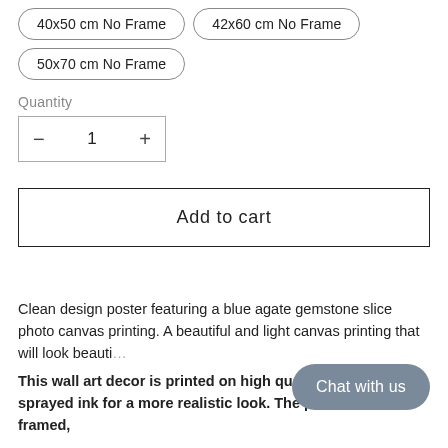40x50 cm No Frame
42x60 cm No Frame
50x70 cm No Frame
Quantity
− 1 +
Add to cart
Clean design poster featuring a blue agate gemstone slice photo canvas printing. A beautiful and light canvas printing that will look beauti…
This wall art decor is printed on high quality … using UV sprayed ink for a more realistic look. The poster is not framed,
Chat with us